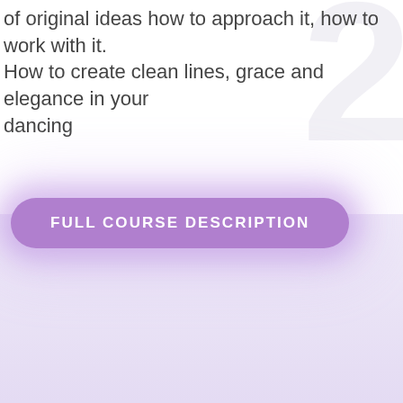of original ideas how to approach it, how to work with it. How to create clean lines, grace and elegance in your dancing
[Figure (other): A purple rounded-rectangle button with glowing purple halo effect containing the text 'FULL COURSE DESCRIPTION' in white bold uppercase letters]